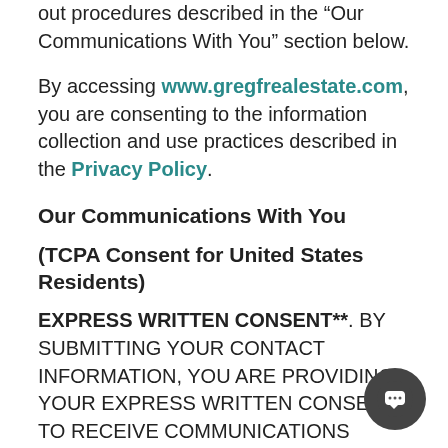out procedures described in the "Our Communications With You" section below.
By accessing www.gregfrealestate.com, you are consenting to the information collection and use practices described in the Privacy Policy.
Our Communications With You
(TCPA Consent for United States Residents)
EXPRESS WRITTEN CONSENT**. BY SUBMITTING YOUR CONTACT INFORMATION, YOU ARE PROVIDING YOUR EXPRESS WRITTEN CONSENT TO RECEIVE COMMUNICATIONS FROM US AT THE EMAIL ADDRESS AND TELEPHONE NUMBERS YOU ENTERED INTO OUR CONTACT FORM, OR